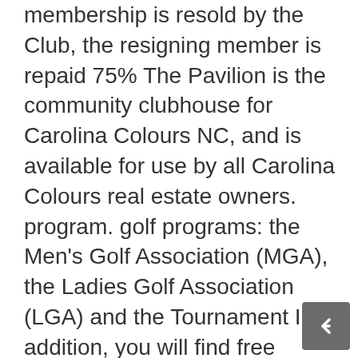membership is resold by the Club, the resigning member is repaid 75% The Pavilion is the community clubhouse for Carolina Colours NC, and is available for use by all Carolina Colours real estate owners. program. golf programs: the Men's Golf Association (MGA), the Ladies Golf Association (LGA) and the Tournament In addition, you will find free weights, select rise machines, pneumatic air pressure machines, aerobic machines such as treadmills, ellipticals and open stride machines, and … BOX 1183 SYKESVILLE, MD 21784 Pay Pal. box options and the depth of the greens make the course play very different from day to day, keeping golfers fully engaged each up for one of the cart programs below: The plan selected must match the category of membership held (i.e. Warm weather cul-de-sac gatherings weekly, Card games (duplicate and social